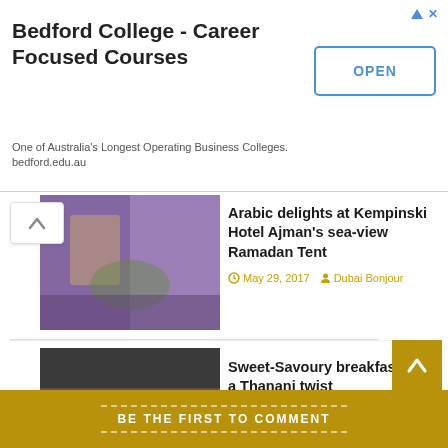[Figure (other): Advertisement banner for Bedford College - Career Focused Courses with OPEN button]
Bedford College - Career Focused Courses
One of Australia's Longest Operating Business Colleges. bedford.edu.au
[Figure (photo): Restaurant/dining area with purple tablecloths]
Arabic delights at Kempinski Hotel Ajman’s sea-view Ramadan Tent
May 29, 2017  Dubai Bonjour
[Figure (photo): Tiered afternoon tea stand with pastries]
Sweet-Savoury breakfast with a Thanani twist
November 18, 2017  Dubai Bonjour
[Figure (photo): Plated food dish on white plate]
Good France 2018 Abu Dhabi
March 1, 2018  Dubai Bonjour
BE THE FIRST TO COMMENT